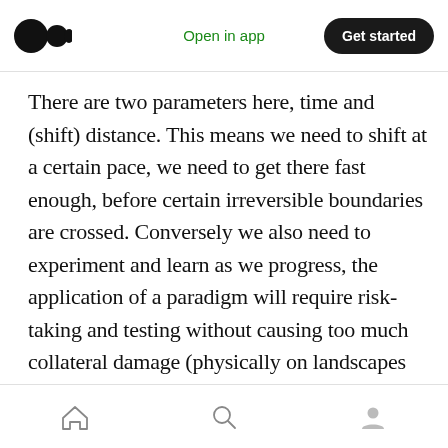Medium app header with logo, Open in app link, and Get started button
There are two parameters here, time and (shift) distance. This means we need to shift at a certain pace, we need to get there fast enough, before certain irreversible boundaries are crossed. Conversely we also need to experiment and learn as we progress, the application of a paradigm will require risk-taking and testing without causing too much collateral damage (physically on landscapes and also in terms of credibility).
The most interesting question is what the
Bottom navigation bar with home, search, and profile icons